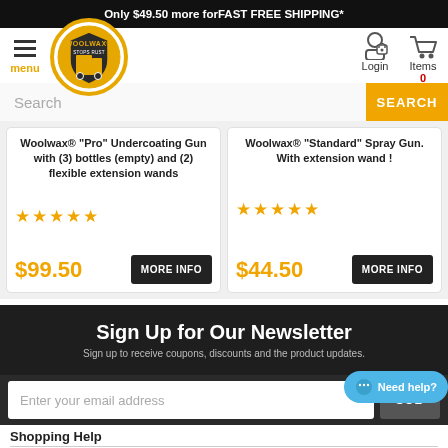Only $49.50 more for FAST FREE SHIPPING*
[Figure (logo): Woolwax logo — circular badge with truck and shield]
menu
Login
Items 0
Search
Woolwax® "Pro" Undercoating Gun with (3) bottles (empty) and (2) flexible extension wands
$99.50
MORE INFO
Woolwax® "Standard" Spray Gun. With extension wand !
$44.50
MORE INFO
Sign Up for Our Newsletter
Sign up to receive coupons, discounts and the product updates.
Enter your email address
SUB
Need help?
Shopping Help